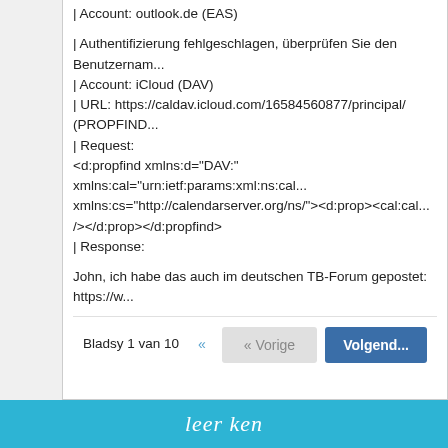| Account: outlook.de (EAS)
| Authentifizierung fehlgeschlagen, überprüfen Sie den Benutzernamen...
| Account: iCloud (DAV)
| URL: https://caldav.icloud.com/16584560877/principal/ (PROPFIND...)
| Request:
&lt;d:propfind xmlns:d="DAV:" xmlns:cal="urn:ietf:params:xml:ns:cal... xmlns:cs="http://calendarserver.org/ns/"&gt;&lt;d:prop&gt;&lt;cal:cal.../&gt;&lt;/d:prop&gt;&lt;/d:propfind&gt;
| Response:
John, ich habe das auch im deutschen TB-Forum gepostet: https://w...
Bladsy 1 van 10
leer ken